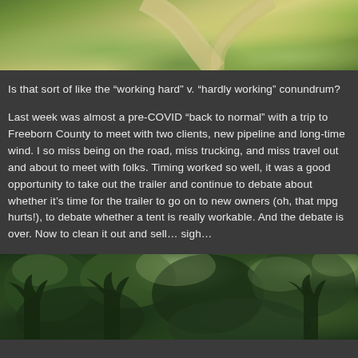[Figure (photo): Aerial or ground-level view of grassy mound or hillside with sandy/gravel path or road crossing through green grass]
Is that sort of like the “working hard” v. “hardly working” conundrum?
Last week was almost a pre-COVID “back to normal” with a trip to Freeborn County to meet with two clients, new pipeline and long-time wind. I so miss being on the road, miss trucking, and miss travel out and about to meet with folks. Timing worked so well, it was a good opportunity to take out the trailer and continue to debate about whether it’s time for the trailer to go on to new owners (oh, that mpg hurts!), to debate whether a tent is really workable. And the debate is over. Now to clean it out and sell… sigh…
[Figure (photo): Dense green forest or wooded area with trees and foliage, some lighter sky visible through the canopy]